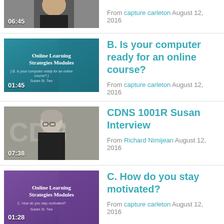[Figure (screenshot): Partial video thumbnail showing a woman in black, duration 06:45]
From capture carleton August 12, 2016
[Figure (screenshot): Video thumbnail: Online Learning Strategies Modules slide, teal background, duration 01:45]
B. Is your computer ready for an online course?
From capture carleton August 12, 2016
[Figure (screenshot): Video thumbnail: woman with grey hair and glasses against CDNS background, duration 07:38]
CDNS 1001R Susan Interview
From Richard Nimijean August 12, 2016
[Figure (screenshot): Video thumbnail: Online Learning Strategies Modules slide, purple background, duration 01:28]
C. How do you stay motivated?
From capture carleton August 12, 2016